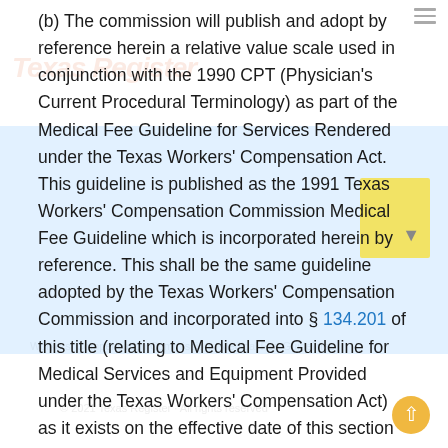(b) The commission will publish and adopt by reference herein a relative value scale used in conjunction with the 1990 CPT (Physician's Current Procedural Terminology) as part of the Medical Fee Guideline for Services Rendered under the Texas Workers' Compensation Act. This guideline is published as the 1991 Texas Workers' Compensation Commission Medical Fee Guideline which is incorporated herein by reference. This shall be the same guideline adopted by the Texas Workers' Compensation Commission and incorporated into § 134.201 of this title (relating to Medical Fee Guideline for Medical Services and Equipment Provided under the Texas Workers' Compensation Act) as it exists on the effective date of this section and as it may be amended thereafter by the commissioners. The guideline may be obtained from the Reprographics